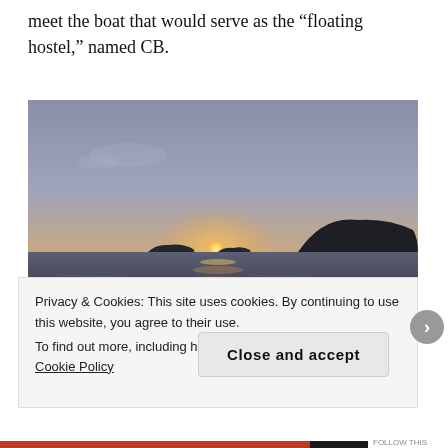meet the boat that would serve as the "floating hostel," named CB.
[Figure (photo): Sunset over the sea with a silhouetted island in the background and calm rippling water in the foreground, taken from a boat.]
Privacy & Cookies: This site uses cookies. By continuing to use this website, you agree to their use.
To find out more, including how to control cookies, see here: Cookie Policy
Close and accept